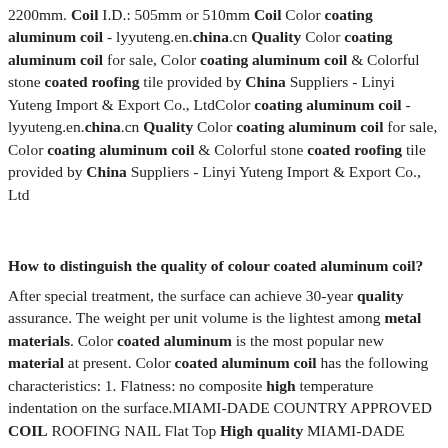2200mm. Coil I.D.: 505mm or 510mm Coil Color coating aluminum coil - lyyuteng.en.china.cn Quality Color coating aluminum coil for sale, Color coating aluminum coil & Colorful stone coated roofing tile provided by China Suppliers - Linyi Yuteng Import & Export Co., LtdColor coating aluminum coil - lyyuteng.en.china.cn Quality Color coating aluminum coil for sale, Color coating aluminum coil & Colorful stone coated roofing tile provided by China Suppliers - Linyi Yuteng Import & Export Co., Ltd
How to distinguish the quality of colour coated aluminum coil?
After special treatment, the surface can achieve 30-year quality assurance. The weight per unit volume is the lightest among metal materials. Color coated aluminum is the most popular new material at present. Color coated aluminum coil has the following characteristics: 1. Flatness: no composite high temperature indentation on the surface.MIAMI-DADE COUNTRY APPROVED COIL ROOFING NAIL Flat Top High quality MIAMI-DADE